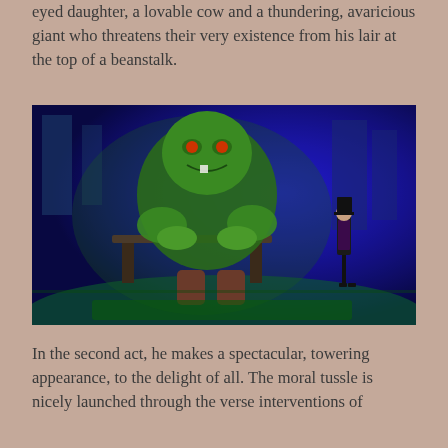eyed daughter, a lovable cow and a thundering, avaricious giant who threatens their very existence from his lair at the top of a beanstalk.
[Figure (photo): Theatre stage photograph showing a giant puppet/costume character (a large green goblin-like giant) seated at a table on the left, and a human actor dressed in black with a top hat standing on the right. The stage is lit with blue and green lighting against a fantasy castle backdrop.]
In the second act, he makes a spectacular, towering appearance, to the delight of all. The moral tussle is nicely launched through the verse interventions of